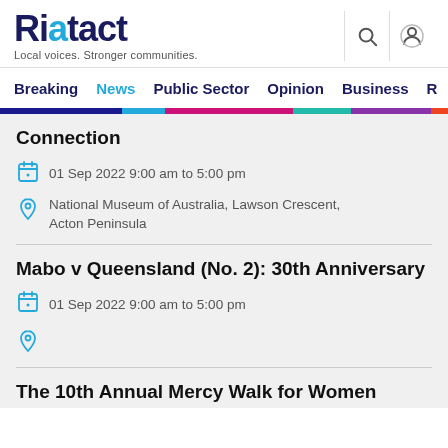Riotact — Local voices. Stronger communities.
Breaking  News  Public Sector  Opinion  Business  R
Connection
01 Sep 2022 9:00 am to 5:00 pm
National Museum of Australia, Lawson Crescent, Acton Peninsula
Mabo v Queensland (No. 2): 30th Anniversary
01 Sep 2022 9:00 am to 5:00 pm
The 10th Annual Mercy Walk for Women